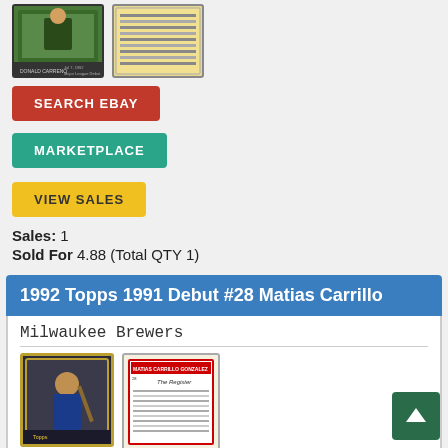[Figure (photo): Baseball card front and back images for previous listing]
SEARCH EBAY
MARKETPLACE
VIEW SALES
Sales: 1
Sold For 4.88 (Total QTY 1)
1992 Topps 1991 Debut #28 Matias Carrillo
Milwaukee Brewers
[Figure (photo): Baseball card front and back images for 1992 Topps 1991 Debut #28 Matias Carrillo]